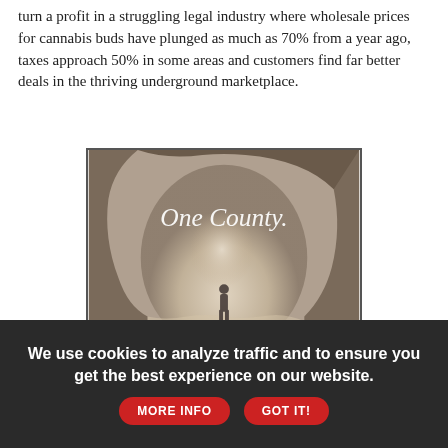turn a profit in a struggling legal industry where wholesale prices for cannabis buds have plunged as much as 70% from a year ago, taxes approach 50% in some areas and customers find far better deals in the thriving underground marketplace.
[Figure (photo): A faded/washed-out photo of a cave or rocky arch opening with a person silhouetted at the entrance, and white text overlay reading 'One County.']
We use cookies to analyze traffic and to ensure you get the best experience on our website. MORE INFO GOT IT!